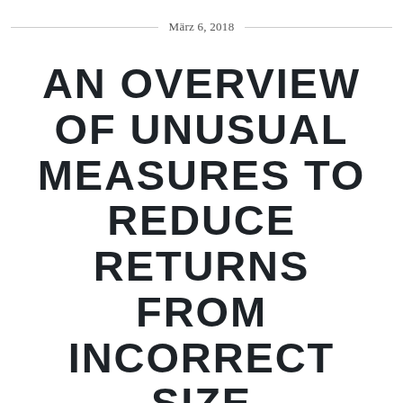März 6, 2018
AN OVERVIEW OF UNUSUAL MEASURES TO REDUCE RETURNS FROM INCORRECT SIZE INFORMATION